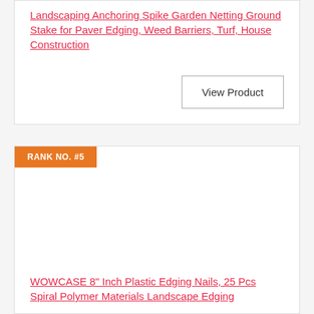Landscaping Anchoring Spike Garden Netting Ground Stake for Paver Edging, Weed Barriers, Turf, House Construction
View Product
RANK NO. #5
WOWCASE 8" Inch Plastic Edging Nails, 25 Pcs Spiral Polymer Materials Landscape Edging